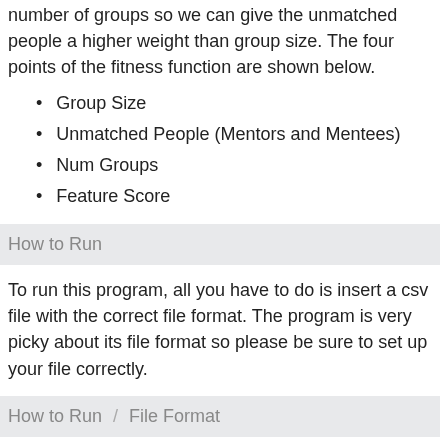number of groups so we can give the unmatched people a higher weight than group size. The four points of the fitness function are shown below.
Group Size
Unmatched People (Mentors and Mentees)
Num Groups
Feature Score
How to Run
To run this program, all you have to do is insert a csv file with the correct file format. The program is very picky about its file format so please be sure to set up your file correctly.
How to Run  /  File Format
The file format must contain the following three fields.
email